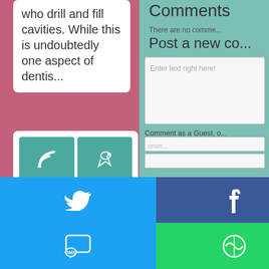who drill and fill cavities. While this is undoubtedly one aspect of dentis...
[Figure (screenshot): Social media subscription buttons grid showing SUBSCRIBE, TWITTER, FACEBOOK, PINTEREST icons in teal tiles]
Comments
There are no comme...
Post a new co...
Enter text right here!
Comment as a Guest, o...
[Figure (screenshot): Social share buttons: Twitter (blue), Facebook (dark blue), Email (gray), WhatsApp (green), SMS (blue), Cameo/other (green)]